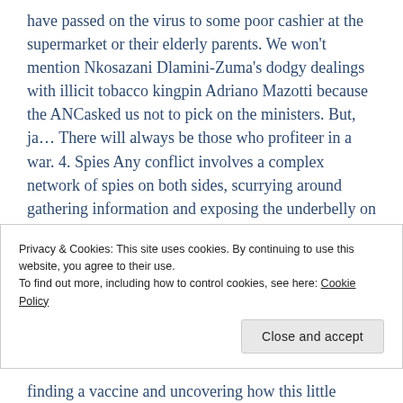have passed on the virus to some poor cashier at the supermarket or their elderly parents. We won't mention Nkosazani Dlamini-Zuma's dodgy dealings with illicit tobacco kingpin Adriano Mazotti because the ANCasked us not to pick on the ministers. But, ja… There will always be those who profiteer in a war. 4. Spies Any conflict involves a complex network of spies on both sides, scurrying around gathering information and exposing the underbelly on both the human and alien invader side. And they are spending lockdown with binocs surveilling their neighbourhoods for humans out after curfew and
Privacy & Cookies: This site uses cookies. By continuing to use this website, you agree to their use.
To find out more, including how to control cookies, see here: Cookie Policy
finding a vaccine and uncovering how this little